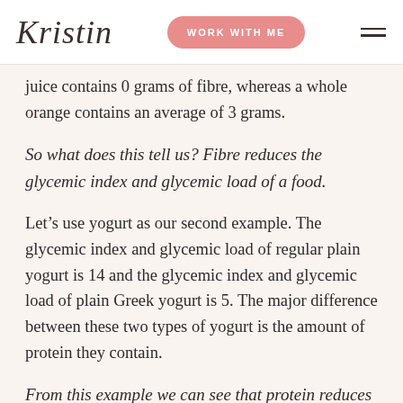Kristin | WORK WITH ME
juice contains 0 grams of fibre, whereas a whole orange contains an average of 3 grams.
So what does this tell us? Fibre reduces the glycemic index and glycemic load of a food.
Let’s use yogurt as our second example. The glycemic index and glycemic load of regular plain yogurt is 14 and the glycemic index and glycemic load of plain Greek yogurt is 5. The major difference between these two types of yogurt is the amount of protein they contain.
From this example we can see that protein reduces the glycemic index and glycemic load of a food.